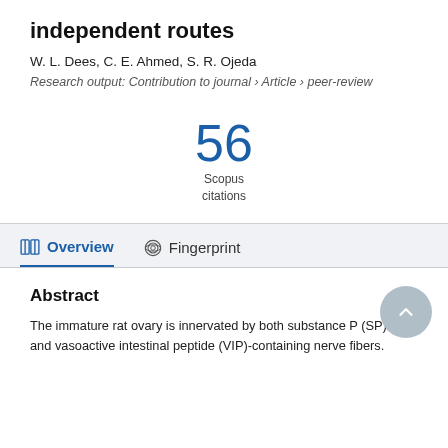independent routes
W. L. Dees, C. E. Ahmed, S. R. Ojeda
Research output: Contribution to journal › Article › peer-review
56 Scopus citations
Overview
Fingerprint
Abstract
The immature rat ovary is innervated by both substance P (SP)- and vasoactive intestinal peptide (VIP)-containing nerve fibers. To determine the nature of these fibers, we...